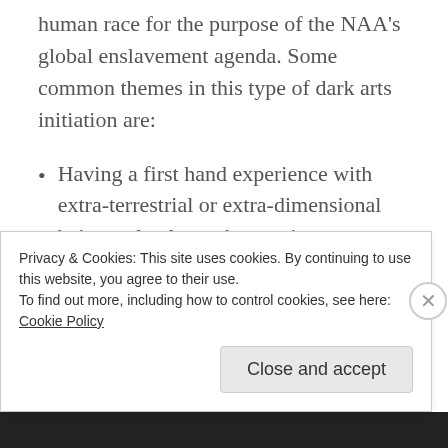human race for the purpose of the NAA's global enslavement agenda. Some common themes in this type of dark arts initiation are:
Having a first hand experience with extra-terrestrial or extra-dimensional beings, clearly not human in nature.
Having an awareness of entity attachments, or Alien Implants appearing in your peripheral vision or lightbody.
Privacy & Cookies: This site uses cookies. By continuing to use this website, you agree to their use. To find out more, including how to control cookies, see here: Cookie Policy
Close and accept